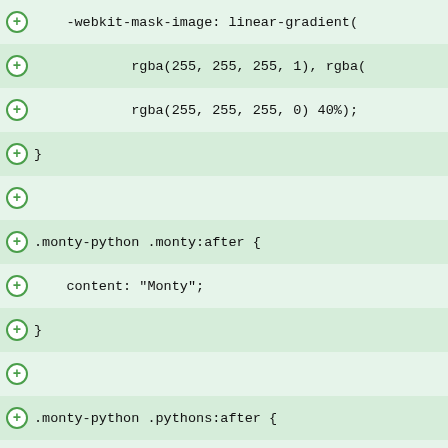-webkit-mask-image: linear-gradient(
rgba(255, 255, 255, 1), rgba(
rgba(255, 255, 255, 0) 40%);
}
.monty-python .monty:after {
content: "Monty";
}
.monty-python .pythons:after {
content: "Python's";
}
.monty-python .flying:after {
content: "Flying";
}
.monty-python .circus:after {
content: "Circus";
}
@font-face {
font-family: "Swiss 721 Black Extend
src: local("Swiss 721 Black Extende